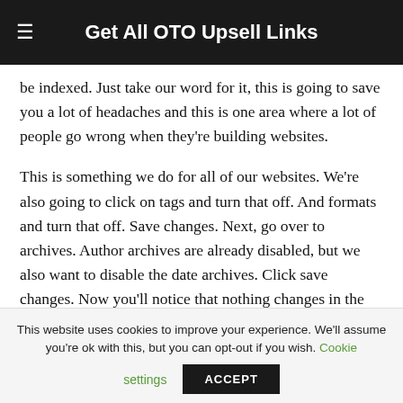Get All OTO Upsell Links
be indexed. Just take our word for it, this is going to save you a lot of headaches and this is one area where a lot of people go wrong when they’re building websites.
This is something we do for all of our websites. We’re also going to click on tags and turn that off. And formats and turn that off. Save changes. Next, go over to archives. Author archives are already disabled, but we also want to disable the date archives. Click save changes. Now you’ll notice that nothing changes in the front end of the website. But we’ve given Google an idea of what we want to index. For instance, this is a category page. This page is not going to show up in
This website uses cookies to improve your experience. We'll assume you're ok with this, but you can opt-out if you wish. Cookie settings ACCEPT